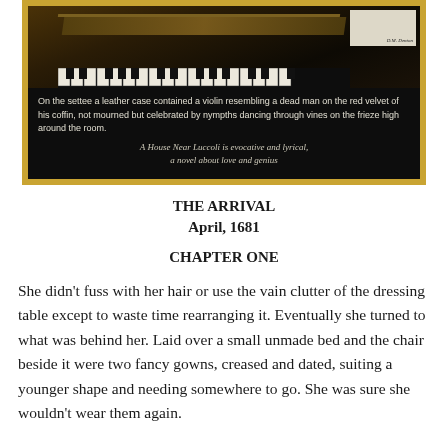[Figure (illustration): Book cover image showing a piano/grand piano in dark tones with a violin case on a settee. Gold border. Text overlay describes a violin on red velvet like a dead man in a coffin with nymphs dancing on a frieze. Tagline: 'A House Near Luccoli is evocative and lyrical, a novel about love and genius'. Author: D.M. Denton.]
THE ARRIVAL
April, 1681
CHAPTER ONE
She didn't fuss with her hair or use the vain clutter of the dressing table except to waste time rearranging it. Eventually she turned to what was behind her. Laid over a small unmade bed and the chair beside it were two fancy gowns, creased and dated, suiting a younger shape and needing somewhere to go. She was sure she wouldn't wear them again.